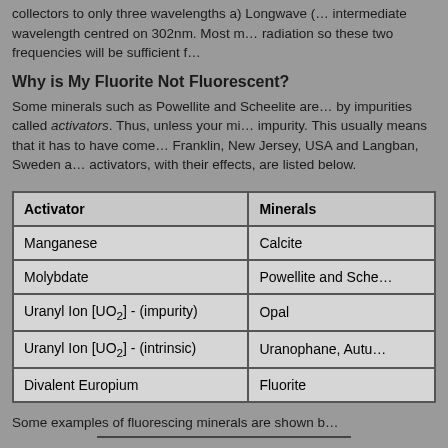collectors to only three wavelengths a) Longwave (... intermediate wavelength centred on 302nm. Most minerals fluoresce under longwave radiation so these two frequencies will be sufficient f...
Why is My Fluorite Not Fluorescent?
Some minerals such as Powellite and Scheelite are... by impurities called activators. Thus, unless your mineral contains the right impurity. This usually means that it has to have come from a locality like Franklin, New Jersey, USA and Langban, Sweden a... activators, with their effects, are listed below.
| Activator | Minerals |
| --- | --- |
| Manganese | Calcite |
| Molybdate | Powellite and Sche... |
| Uranyl Ion [UO₂] - (impurity) | Opal |
| Uranyl Ion [UO₂] - (intrinsic) | Uranophane, Autu... |
| Divalent Europium | Fluorite |
Some examples of fluorescing minerals are shown b...